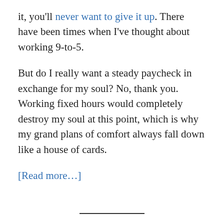it, you'll never want to give it up. There have been times when I've thought about working 9-to-5.
But do I really want a steady paycheck in exchange for my soul? No, thank you. Working fixed hours would completely destroy my soul at this point, which is why my grand plans of comfort always fall down like a house of cards.
[Read more…]